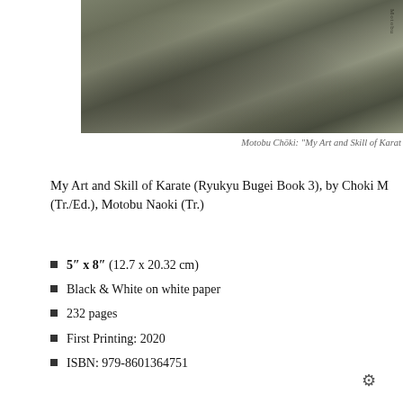[Figure (photo): Black and white photograph showing close-up of clothing/fabric with vertical Japanese text on right side]
Motobu Chōki: “My Art and Skill of Karat…
My Art and Skill of Karate (Ryukyu Bugei Book 3), by Choki M… (Tr./Ed.), Motobu Naoki (Tr.)
5″ x 8″ (12.7 x 20.32 cm)
Black & White on white paper
232 pages
First Printing: 2020
ISBN: 979-8601364751